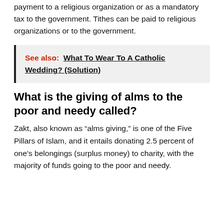payment to a religious organization or as a mandatory tax to the government. Tithes can be paid to religious organizations or to the government.
See also: What To Wear To A Catholic Wedding? (Solution)
What is the giving of alms to the poor and needy called?
Zakt, also known as “alms giving,” is one of the Five Pillars of Islam, and it entails donating 2.5 percent of one’s belongings (surplus money) to charity, with the majority of funds going to the poor and needy.